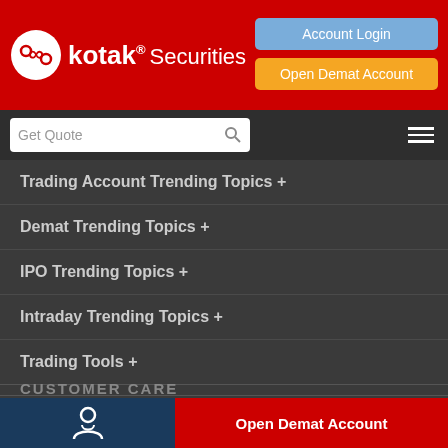[Figure (logo): Kotak Securities logo with red background, circular icon, and white text reading 'kotak® Securities']
Account Login
Open Demat Account
Get Quote
Trading Account Trending Topics +
Demat Trending Topics +
IPO Trending Topics +
Intraday Trending Topics +
Trading Tools +
Download Neo Trading App
[Figure (illustration): Google Play Store badge - GET IT ON Google Play]
[Figure (illustration): Apple App Store badge - Download on the App Store]
CUSTOMER CARE
Open Demat Account